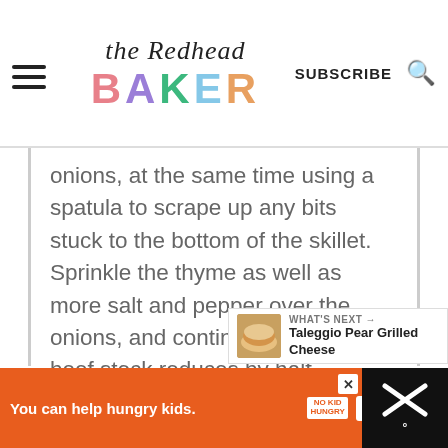the Redhead BAKER — SUBSCRIBE
onions, at the same time using a spatula to scrape up any bits stuck to the bottom of the skillet. Sprinkle the thyme as well as more salt and pepper over the onions, and continue cooking until beef stock reduces by half.
[Figure (screenshot): Social share buttons: heart/favorite button with count 603, and share button]
[Figure (screenshot): What's Next promo: Taleggio Pear Grilled Cheese]
[Figure (screenshot): Ad banner: You can help hungry kids. No Kid Hungry. LEARN HOW]